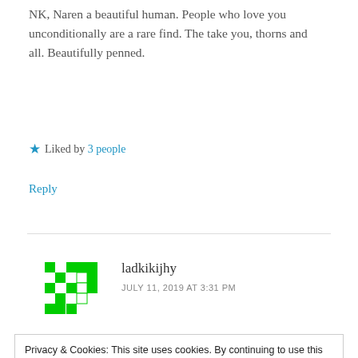NK, Naren a beautiful human. People who love you unconditionally are a rare find. The take you, thorns and all. Beautifully penned.
★ Liked by 3 people
Reply
[Figure (illustration): Green pixel/identicon avatar for user ladkikijhy]
ladkikijhy
JULY 11, 2019 AT 3:31 PM
Privacy & Cookies: This site uses cookies. By continuing to use this website, you agree to their use. To find out more, including how to control cookies, see here: Cookie Policy
Close and accept